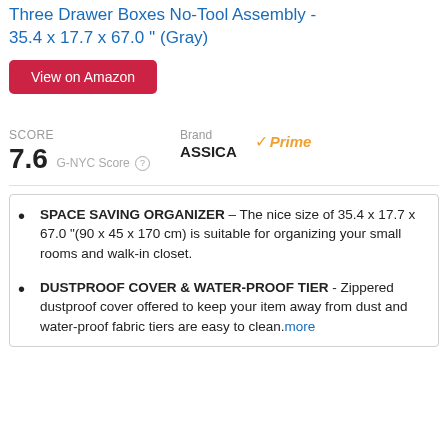Three Drawer Boxes No-Tool Assembly - 35.4 x 17.7 x 67.0 '' (Gray)
View on Amazon
SCORE 7.6 G-NYC Score  Brand ASSICA  Prime
SPACE SAVING ORGANIZER – The nice size of 35.4 x 17.7 x 67.0 "(90 x 45 x 170 cm) is suitable for organizing your small rooms and walk-in closet.
DUSTPROOF COVER & WATER-PROOF TIER - Zippered dustproof cover offered to keep your item away from dust and water-proof fabric tiers are easy to clean.more